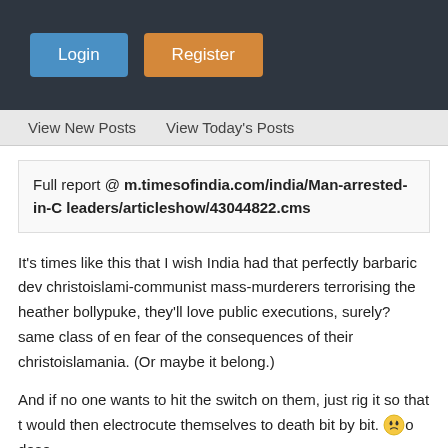Login | Register
View New Posts   View Today's Posts
Full report @ m.timesofindia.com/india/Man-arrested-in-C leaders/articleshow/43044822.cms
It's times like this that I wish India had that perfectly barbaric dev christoislami-communist mass-murderers terrorising the heather bollypuke, they'll love public executions, surely? same class of en fear of the consequences of their christoislamania. (Or maybe it belong.)

And if no one wants to hit the switch on them, just rig it so that t would then electrocute themselves to death bit by bit. o dese